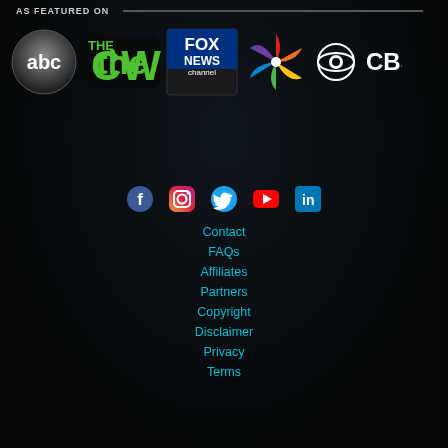AS FEATURED ON
[Figure (logo): Row of media network logos: abc, The CW, Fox News Channel, NBC (peacock), CBS]
[Figure (infographic): Social media icons row: Facebook, Instagram, Twitter, YouTube, LinkedIn]
Contact
FAQs
Affiliates
Partners
Copyright
Disclaimer
Privacy
Terms
Copyright © 2005 - 2022 ArtistPR — All rights reserved.